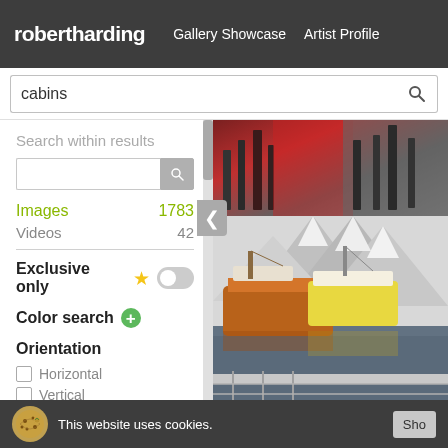robertharding | Gallery Showcase | Artist Profile
cabins (search query)
Search within results
Images 1783
Videos 42
Exclusive only
Color search
Orientation
Horizontal
Vertical
Panoramic
[Figure (photo): Top partial image showing red/dark tones, possibly a cabin scene]
[Figure (photo): Main photo of fishing boats with orange/wooden hull docked in a snowy fjord with snow-covered mountains in background]
This website uses cookies.